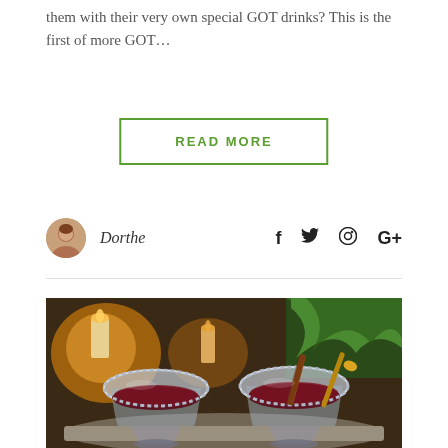them with their very own special GOT drinks? This is the first of more GOT...
READ MORE
Dorthe
[Figure (photo): Two ornate glass cups filled with dark red mulled wine, one with a cinnamon stick and gold spoon, set against a backdrop of candles and evergreen branches]